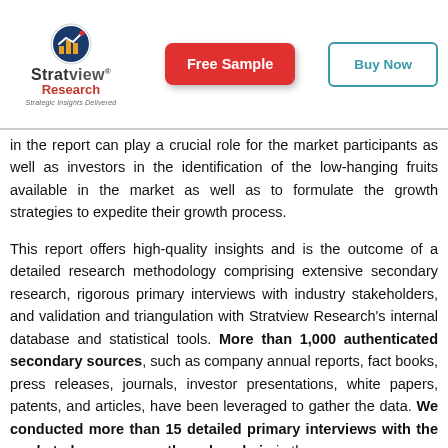[Figure (logo): Stratview Research logo with circular icon, red 'Research' text, and tagline 'Strategic Insights Delivered']
[Figure (other): Red rounded rectangle button with white text 'Free Sample']
[Figure (other): Teal outlined rounded rectangle button with text 'Buy Now']
in the report can play a crucial role for the market participants as well as investors in the identification of the low-hanging fruits available in the market as well as to formulate the growth strategies to expedite their growth process.
This report offers high-quality insights and is the outcome of a detailed research methodology comprising extensive secondary research, rigorous primary interviews with industry stakeholders, and validation and triangulation with Stratview Research's internal database and statistical tools. More than 1,000 authenticated secondary sources, such as company annual reports, fact books, press releases, journals, investor presentations, white papers, patents, and articles, have been leveraged to gather the data. We conducted more than 15 detailed primary interviews with the market players across the value chain in the